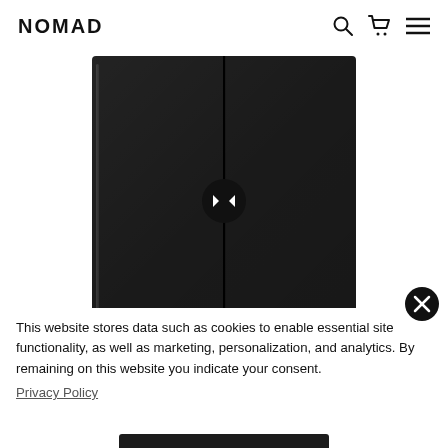NOMAD
[Figure (photo): Black leather folio/case product shown in closed position, viewed from front, with a circular left/right arrow navigation button overlaid in the center of the image.]
This website stores data such as cookies to enable essential site functionality, as well as marketing, personalization, and analytics. By remaining on this website you indicate your consent.
Privacy Policy